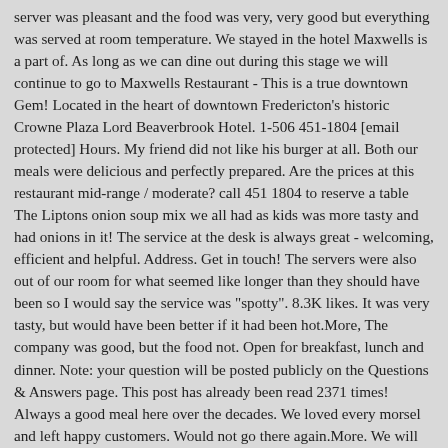server was pleasant and the food was very, very good but everything was served at room temperature. We stayed in the hotel Maxwells is a part of. As long as we can dine out during this stage we will continue to go to Maxwells Restaurant - This is a true downtown Gem! Located in the heart of downtown Fredericton's historic Crowne Plaza Lord Beaverbrook Hotel. 1-506 451-1804 [email protected] Hours. My friend did not like his burger at all. Both our meals were delicious and perfectly prepared. Are the prices at this restaurant mid-range / moderate? call 451 1804 to reserve a table The Liptons onion soup mix we all had as kids was more tasty and had onions in it! The service at the desk is always great - welcoming, efficient and helpful. Address. Get in touch! The servers were also out of our room for what seemed like longer than they should have been so I would say the service was "spotty". 8.3K likes. It was very tasty, but would have been better if it had been hot.More, The company was good, but the food not. Open for breakfast, lunch and dinner. Note: your question will be posted publicly on the Questions & Answers page. This post has already been read 2371 times! Always a good meal here over the decades. We loved every morsel and left happy customers. Would not go there again.More. We will be back!More, I went there with four friends recently. Going here feels "special". The restaurants of the Crowne Plaza in Fredericton, New Brunswick, Canada, are setting the standard